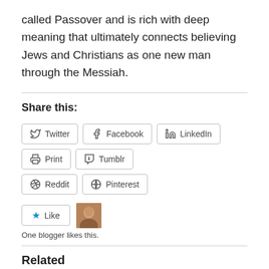called Passover and is rich with deep meaning that ultimately connects believing Jews and Christians as one new man through the Messiah.
Share this:
Twitter Facebook LinkedIn Print Tumblr Reddit Pinterest
Like · One blogger likes this.
Related
You Are Not Good, You Are Stubborn
July 18, 2022
In "Israel Commentary"